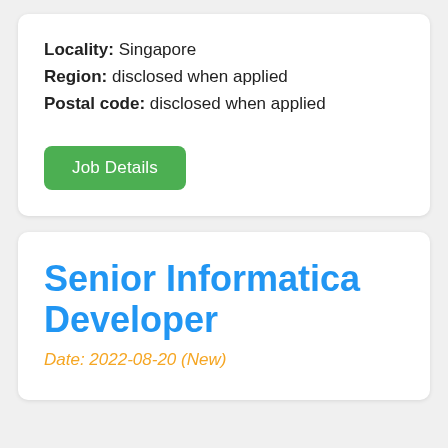Locality: Singapore
Region: disclosed when applied
Postal code: disclosed when applied
Job Details
Senior Informatica Developer
Date: 2022-08-20 (New)